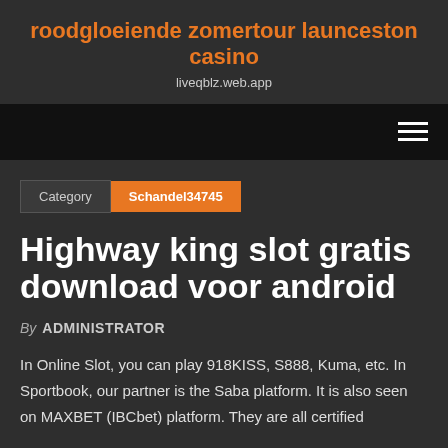roodgloeiende zomertour launceston casino
liveqblz.web.app
Category  Schandel34745
Highway king slot gratis download voor android
By ADMINISTRATOR
In Online Slot, you can play 918KISS, S888, Kuma, etc. In Sportbook, our partner is the Saba platform. It is also seen on MAXBET (IBCbet) platform. They are all certified